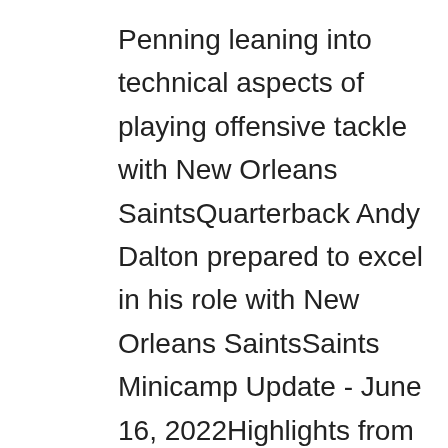Penning leaning into technical aspects of playing offensive tackle with New Orleans SaintsQuarterback Andy Dalton prepared to excel in his role with New Orleans SaintsSaints Minicamp Update - June 16, 2022Highlights from day two at Saints Minicamp 2022Saints Minicamp Update - June 15, 2022Highlights from day one at Saints Minicamp 2022 Saints Minicamp Update - June 14, 2022Photos: New Orleans Saints 2022 Minicamp | Day 3Photos: New Orleans Saints 2022 Minicamp | Day 2Photos: Saints fans attend Day 2 of 2022 Saints MinicampPhotos: New Orleans Saints